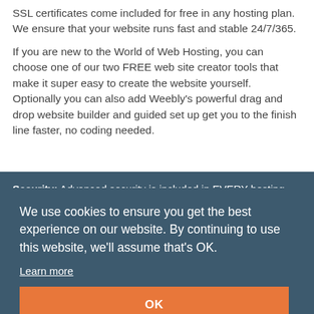SSL certificates come included for free in any hosting plan. We ensure that your website runs fast and stable 24/7/365.
If you are new to the World of Web Hosting, you can choose one of our two FREE web site creator tools that make it super easy to create the website yourself. Optionally you can also add Weebly's powerful drag and drop website builder and guided set up get you to the finish line faster, no coding needed.
Security: Advanced security is included in EVERY hosting plan...
We use cookies to ensure you get the best experience on our website. By continuing to use this website, we'll assume that's OK.
Learn more
OK